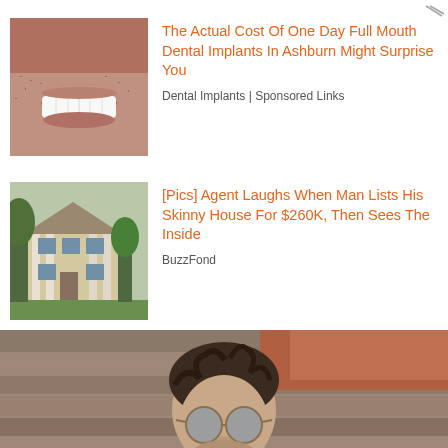[Figure (photo): Close-up photo of a person's mouth showing white teeth with facial stubble]
The Actual Cost Of One Day Full Mouth Dental Implants In Ashburn Might Surprise You
Dental Implants | Sponsored Links
[Figure (photo): Photo of a two-story beige colonial house with white columns, trees in background]
[Pics] Agent Laughs When Man Lists His Skinny House For $260K, Then Sees The Inside
BuzzFond
[Figure (photo): Photo of a man with curly hair and round sunglasses in front of a wooden background]